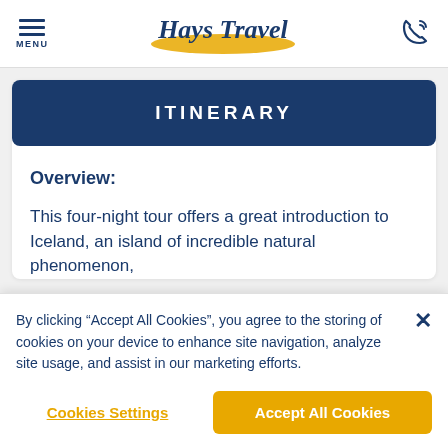MENU / Hays Travel / phone icon
ITINERARY
Overview:
This four-night tour offers a great introduction to Iceland, an island of incredible natural phenomenon,
By clicking “Accept All Cookies”, you agree to the storing of cookies on your device to enhance site navigation, analyze site usage, and assist in our marketing efforts.